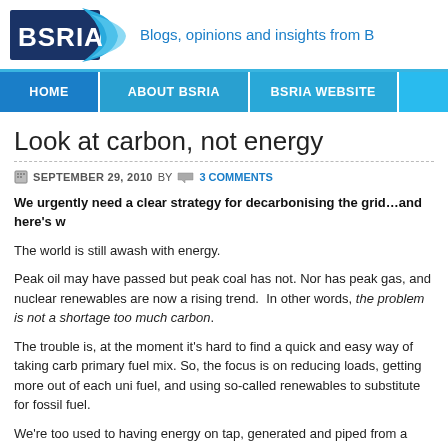BSRIA — Blogs, opinions and insights from BSRIA
Look at carbon, not energy
SEPTEMBER 29, 2010 BY  3 COMMENTS
We urgently need a clear strategy for decarbonising the grid…and here's w
The world is still awash with energy.
Peak oil may have passed but peak coal has not. Nor has peak gas, and nuclear renewables are now a rising trend.  In other words, the problem is not a shortage too much carbon.
The trouble is, at the moment it's hard to find a quick and easy way of taking carb primary fuel mix. So, the focus is on reducing loads, getting more out of each uni fuel, and using so-called renewables to substitute for fossil fuel.
We're too used to having energy on tap, generated and piped from a distance. C this view of life (we'll be debating this at our briefing). Low carbon communit